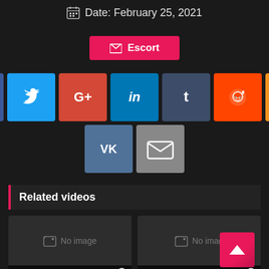📅 Date: February 25, 2021
Escort
[Figure (infographic): Social media share buttons: Facebook, Twitter, Google+, LinkedIn, Tumblr, Reddit, Odnoklassniki, VKontakte, Email]
Related videos
[Figure (other): No image video thumbnail with 0 views]
[Figure (other): No image video thumbnail with 0 views and scroll-to-top pink button]